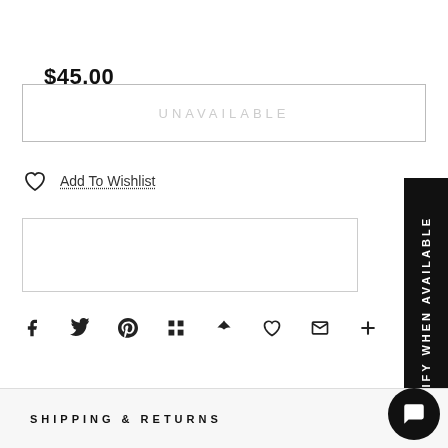$45.00
UNAVAILABLE
Add To Wishlist
NOTIFY WHEN AVAILABLE
SHIPPING & RETURNS